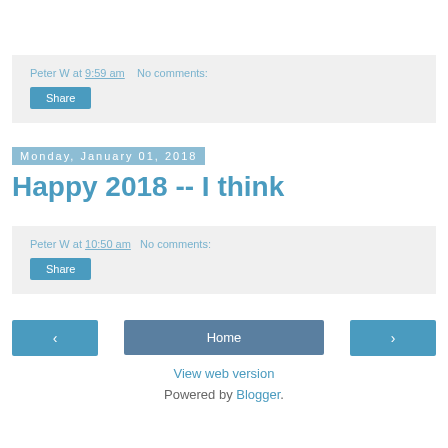Peter W at 9:59 am   No comments:
Share
Monday, January 01, 2018
Happy 2018 -- I think
Peter W at 10:50 am   No comments:
Share
‹   Home   ›
View web version
Powered by Blogger.